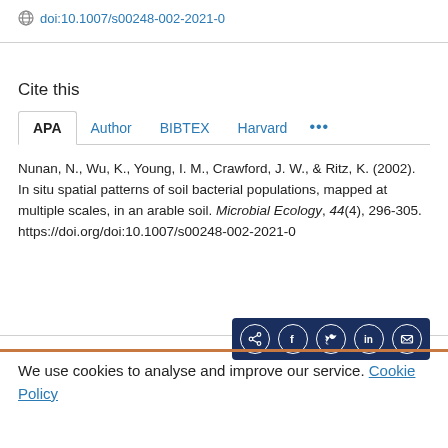doi:10.1007/s00248-002-2021-0
Cite this
APA | Author | BIBTEX | Harvard | ...
Nunan, N., Wu, K., Young, I. M., Crawford, J. W., & Ritz, K. (2002). In situ spatial patterns of soil bacterial populations, mapped at multiple scales, in an arable soil. Microbial Ecology, 44(4), 296-305. https://doi.org/doi:10.1007/s00248-002-2021-0
We use cookies to analyse and improve our service. Cookie Policy